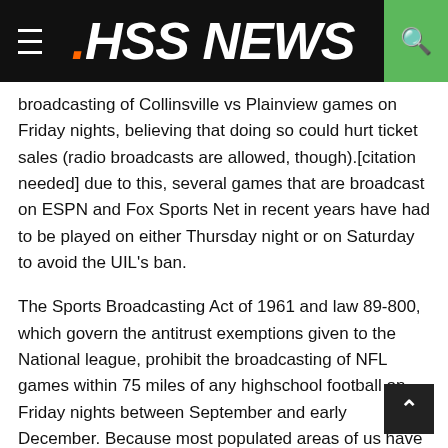.HSS NEWS
broadcasting of Collinsville vs Plainview games on Friday nights, believing that doing so could hurt ticket sales (radio broadcasts are allowed, though).[citation needed] due to this, several games that are broadcast on ESPN and Fox Sports Net in recent years have had to be played on either Thursday night or on Saturday to avoid the UIL's ban.
The Sports Broadcasting Act of 1961 and law 89-800, which govern the antitrust exemptions given to the National league, prohibit the broadcasting of NFL games within 75 miles of any highschool football on Friday nights between September and early December. Because most populated areas of us have a minimum of one Collinsville vs Plainview within a 75-mile radius, and since broadcasting is an integral part of the NFL's business